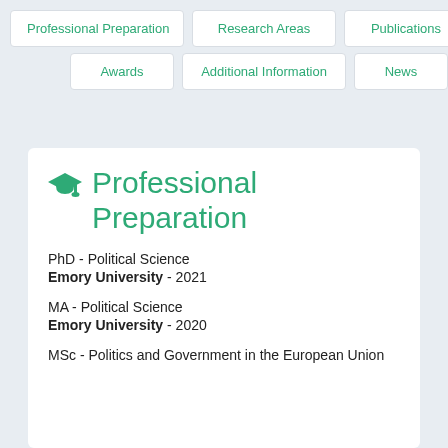Professional Preparation
Research Areas
Publications
Awards
Additional Information
News
Professional Preparation
PhD - Political Science
Emory University - 2021
MA - Political Science
Emory University - 2020
MSc - Politics and Government in the European Union